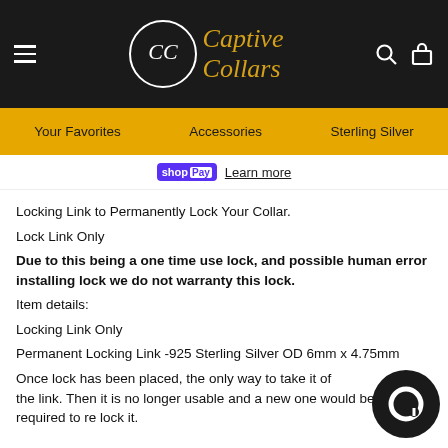Captive Collars — navigation header with logo
Your Favorites   Accessories   Sterling Silver
shop Pay  Learn more
Locking Link to Permanently Lock Your Collar.
Lock Link Only
Due to this being a one time use lock, and possible human error installing lock we do not warranty this lock.
Item details:
Locking Link Only
Permanent Locking Link -925 Sterling Silver OD 6mm x 4.75mm
Once lock has been placed, the only way to take it off is to cut the link. Then it is no longer usable and a new one would be required to re lock it.